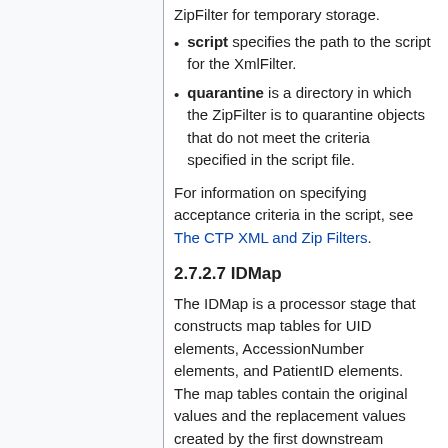script specifies the path to the script for the XmlFilter.
quarantine is a directory in which the ZipFilter is to quarantine objects that do not meet the criteria specified in the script file.
For information on specifying acceptance criteria in the script, see The CTP XML and Zip Filters.
2.7.2.7 IDMap
The IDMap is a processor stage that constructs map tables for UID elements, AccessionNumber elements, and PatientID elements. The map tables contain the original values and the replacement values created by the first downstream anonymizer. These tables can be accessed by administrators using